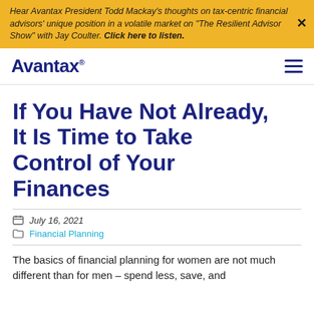Hear Avantax President Todd Mackay's thoughts on tax-centric financial advisors' unique position in a volatile market on "The Resilient Advisor Show" with Jay Coulter. Click here to listen.
Avantax®
If You Have Not Already, It Is Time to Take Control of Your Finances
July 16, 2021
Financial Planning
The basics of financial planning for women are not much different than for men – spend less, save, and